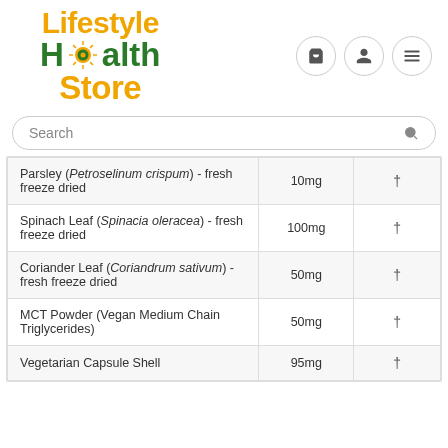[Figure (logo): Lifestyle Health Store logo with sun icon, yellow and green text, and three navigation icons (cart, user, menu)]
Search
| Ingredient | Amount | DV |
| --- | --- | --- |
| Parsley (Petroselinum crispum) - fresh freeze dried | 10mg | † |
| Spinach Leaf (Spinacia oleracea) - fresh freeze dried | 100mg | † |
| Coriander Leaf (Coriandrum sativum) - fresh freeze dried | 50mg | † |
| MCT Powder (Vegan Medium Chain Triglycerides) | 50mg | † |
| Vegetarian Capsule Shell | 95mg | † |